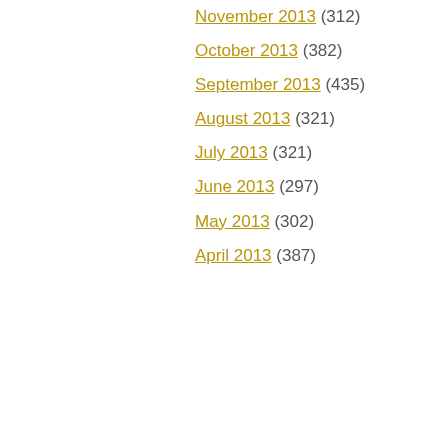November 2013 (312)
October 2013 (382)
September 2013 (435)
August 2013 (321)
July 2013 (321)
June 2013 (297)
May 2013 (302)
April 2013 (387)
We use cookies on our website to give you the most relevant experience by remembering your preferences and repeat visits. By clicking “Accept All”, you consent to the use of ALL the cookies. However, you may visit "Cookie Settings" to provide a controlled consent.